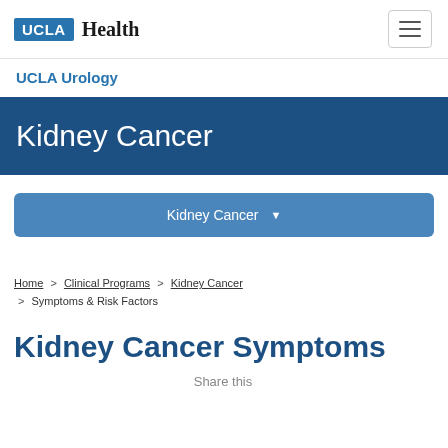UCLA Health
UCLA Urology
Kidney Cancer
Kidney Cancer
Home > Clinical Programs > Kidney Cancer > Symptoms & Risk Factors
Kidney Cancer Symptoms
Share this